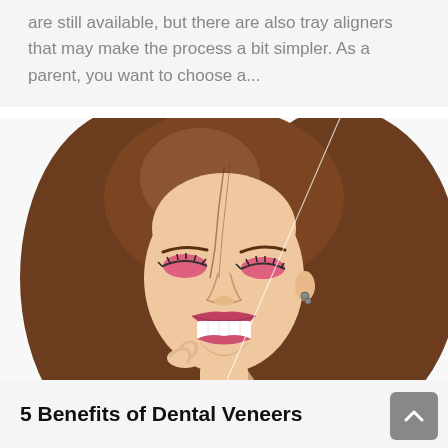are still available, but there are also tray aligners that may make the process a bit simpler. As a parent, you want to choose a...
[Figure (photo): A young woman with brown wavy hair, pink eye makeup and lipstick, laughing with bright white teeth visible. She is photographed against a white background, tilting her head back.]
5 Benefits of Dental Veneers